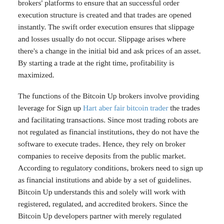brokers' platforms to ensure that an successful order execution structure is created and that trades are opened instantly. The swift order execution ensures that slippage and losses usually do not occur. Slippage arises where there's a change in the initial bid and ask prices of an asset. By starting a trade at the right time, profitability is maximized.
The functions of the Bitcoin Up brokers involve providing leverage for Sign up Hart aber fair bitcoin trader the trades and facilitating transactions. Since most trading robots are not regulated as financial institutions, they do not have the software to execute trades. Hence, they rely on broker companies to receive deposits from the public market. According to regulatory conditions, brokers need to sign up as financial institutions and abide by a set of guidelines. Bitcoin Up understands this and solely will work with registered, regulated, and accredited brokers. Since the Bitcoin Up developers partner with merely regulated brokers, Bitcoin robot uk users will be sure of the safety of their funds even in bankruptcy. The fx trading